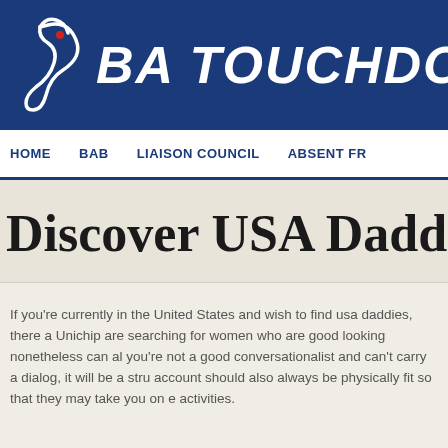BA TOUCHDOWN
HOME   BAB   LIAISON COUNCIL   ABSENT FR
Discover USA Dadd
If you're currently in the United States and wish to find usa daddies, there a Unichip are searching for women who are good looking nonetheless can al you're not a good conversationalist and can't carry a dialog, it will be a stru account should also always be physically fit so that they may take you on e activities.